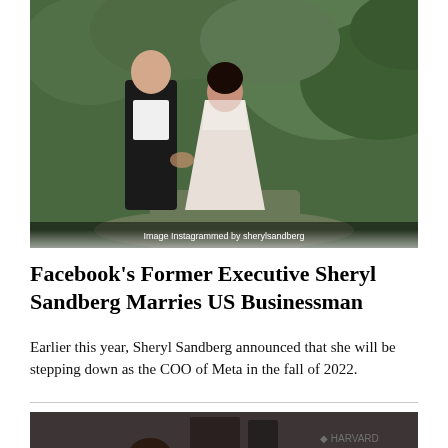[Figure (photo): A couple walking hand-in-hand outdoors in a wooded area. The woman wears a white lace gown and the man wears a dark suit. Image has a caption overlay: 'Image Instagrammed by sherylsandberg'.]
Facebook's Former Executive Sheryl Sandberg Marries US Businessman
Earlier this year, Sheryl Sandberg announced that she will be stepping down as the COO of Meta in the fall of 2022.
[Figure (photo): A person visible from the shoulders up against a dark interior background with blurred signage visible on the right side.]